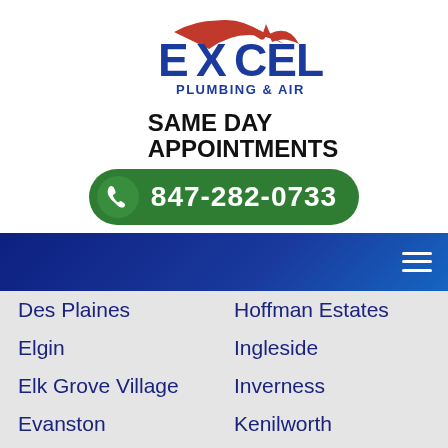[Figure (logo): Excel Plumbing & Air logo with red swoosh and blue text]
SAME DAY APPOINTMENTS
847-282-0733
[Figure (screenshot): Navigation bar with hamburger menu icon on dark blue gradient background]
Des Plaines
Hoffman Estates
Elgin
Ingleside
Elk Grove Village
Inverness
Evanston
Kenilworth
Fox Lake
Kildeer
Franklin Park
Lake Bluff
Gages Lake
Lake Forest
Glencoe
Lake Zurich